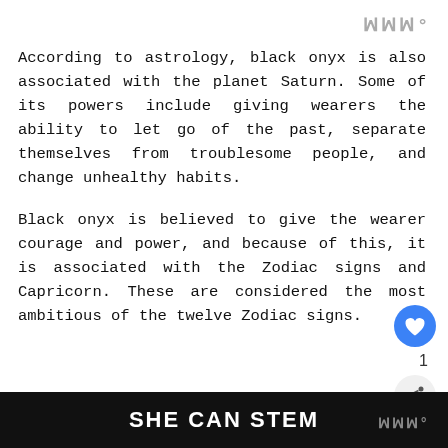According to astrology, black onyx is also associated with the planet Saturn. Some of its powers include giving wearers the ability to let go of the past, separate themselves from troublesome people, and change unhealthy habits.
Black onyx is believed to give the wearer courage and power, and because of this, it is associated with the Zodiac signs and Capricorn. These are considered the most ambitious of the twelve Zodiac signs.
SHE CAN STEM